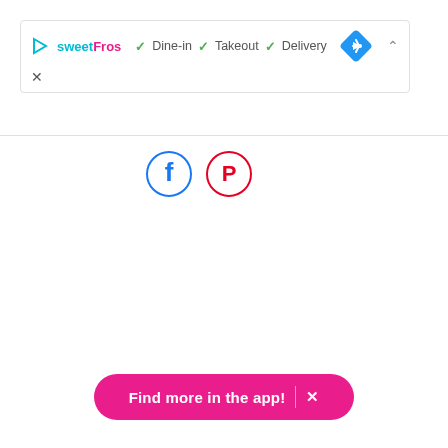[Figure (screenshot): Top bar with SweetFros brand logo, dine-in, takeout, delivery checkmarks, blue navigation diamond icon, collapse arrow, and close X button]
[Figure (screenshot): Social media share icons: Facebook (blue circle) and Pinterest (red circle)]
[Figure (screenshot): Pink rounded 'Find more in the app!' button with X close icon at bottom of page]